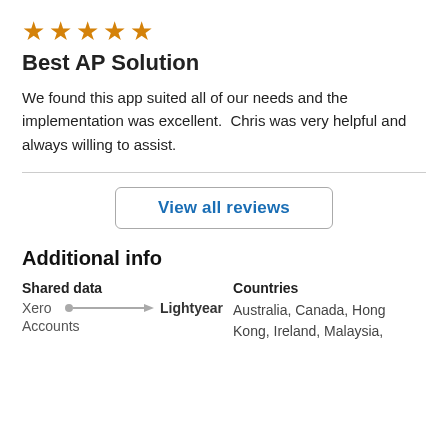[Figure (other): Five orange star rating icons]
Best AP Solution
We found this app suited all of our needs and the implementation was excellent.  Chris was very helpful and always willing to assist.
View all reviews
Additional info
Shared data
Countries
Xero   Lightyear
Accounts ●────────────▶
Australia, Canada, Hong Kong, Ireland, Malaysia,